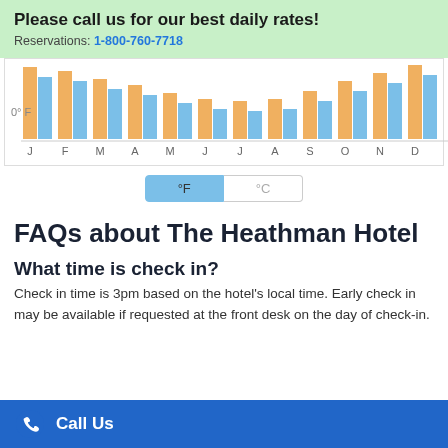Please call us for our best daily rates! Reservations: 1-800-760-7718
[Figure (grouped-bar-chart): Grouped bar chart showing monthly high (orange) and low (blue) temperatures for each month of the year. Y-axis shows 0°F.]
FAQs about The Heathman Hotel
What time is check in?
Check in time is 3pm based on the hotel's local time. Early check in may be available if requested at the front desk on the day of check-in.
Call Us